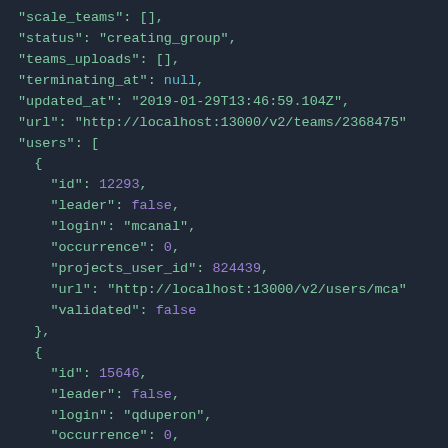JSON code snippet showing scale_teams, status, teams_uploads, terminating_at, updated_at, url, users array with two user objects containing id, leader, login, occurrence, projects_user_id, url, validated fields